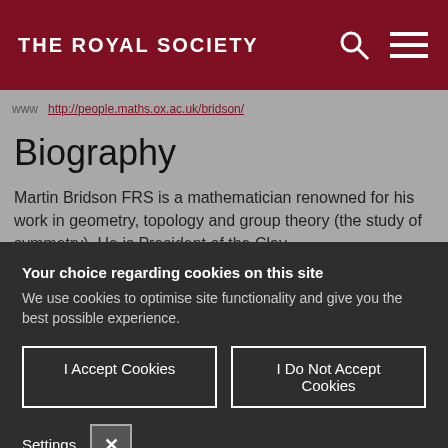THE ROYAL SOCIETY
www http://people.maths.ox.ac.uk/bridson/
Biography
Martin Bridson FRS is a mathematician renowned for his work in geometry, topology and group theory (the study of symmetry). He is President of the Clay
Your choice regarding cookies on this site
We use cookies to optimise site functionality and give you the best possible experience.
I Accept Cookies
I Do Not Accept Cookies
Settings